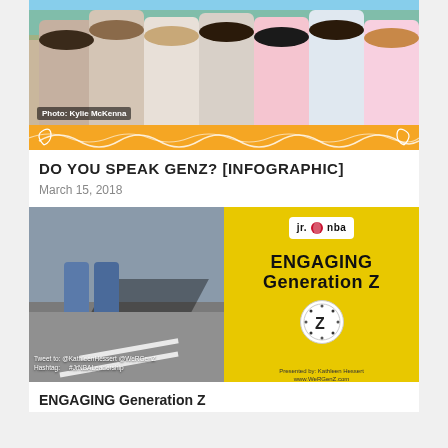[Figure (photo): Group of teenage girls posing for a photo outdoors with an orange decorative border and wavy white lines. Photo credit: Kylie McKenna]
DO YOU SPEAK GENZ? [INFOGRAPHIC]
March 15, 2018
[Figure (photo): Split image: left side shows legs in jeans on pavement with shadow; right side is a yellow Jr. NBA slide titled 'ENGAGING Generation Z' with a Z logo. Presented by Kathleen Hessert, www.WeRGenZ.com. Tweet to @KathleenHessert @WeRGenZ Hashtag: #JrNBALeadership]
ENGAGING Generation Z